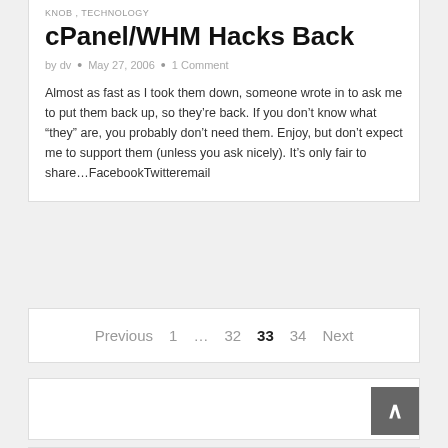KNOB , TECHNOLOGY
cPanel/WHM Hacks Back
by dv · May 27, 2006 · 1 Comment
Almost as fast as I took them down, someone wrote in to ask me to put them back up, so they're back. If you don't know what "they" are, you probably don't need them. Enjoy, but don't expect me to support them (unless you ask nicely). It's only fair to share…FacebookTwitteremail
Previous 1 … 32 33 34 Next